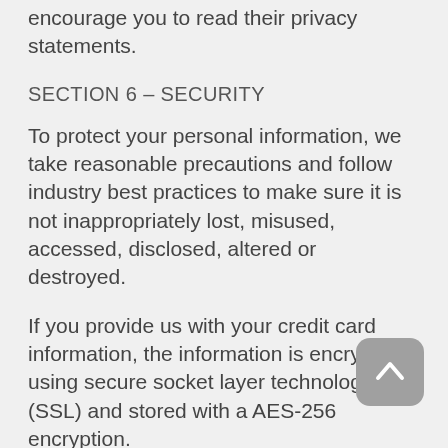encourage you to read their privacy statements.
SECTION 6 – SECURITY
To protect your personal information, we take reasonable precautions and follow industry best practices to make sure it is not inappropriately lost, misused, accessed, disclosed, altered or destroyed.
If you provide us with your credit card information, the information is encrypted using secure socket layer technology (SSL) and stored with a AES-256 encryption.